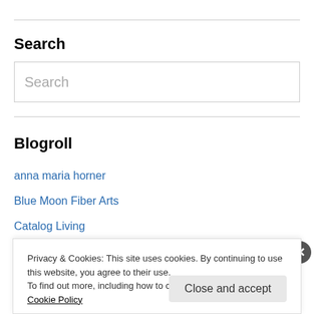Search
[Figure (screenshot): Search input text box with placeholder text 'Search']
Blogroll
anna maria horner
Blue Moon Fiber Arts
Catalog Living
Coal Creek Farm
Privacy & Cookies: This site uses cookies. By continuing to use this website, you agree to their use.
To find out more, including how to control cookies, see here: Cookie Policy
Close and accept